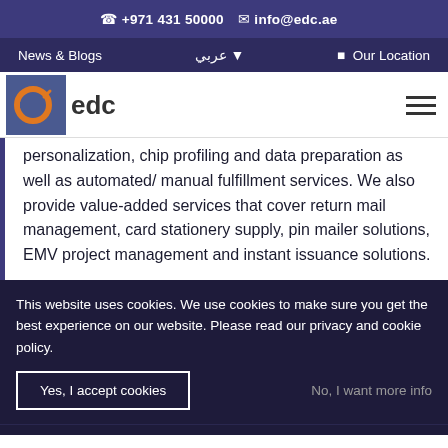📞 +971 431 50000  ✉ info@edc.ae
News & Blogs   عربي ▾   ☰ Our Location
[Figure (logo): EDC company logo — blue square background with orange circular 'e' icon, text 'edc' beside it, hamburger menu icon on right]
personalization, chip profiling and data preparation as well as automated/ manual fulfillment services. We also provide value-added services that cover return mail management, card stationery supply, pin mailer solutions, EMV project management and instant issuance solutions.
This website uses cookies. We use cookies to make sure you get the best experience on our website. Please read our privacy and cookie policy.
Yes, I accept cookies   No, I want more info